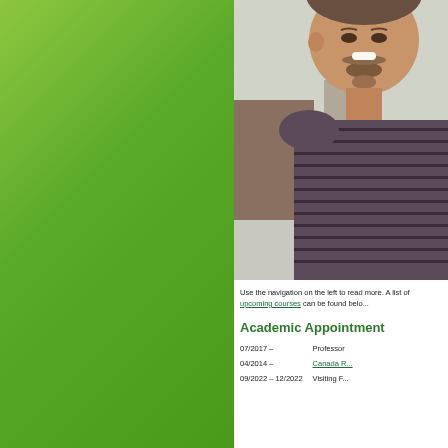[Figure (photo): Green gradient sidebar background on the left side of the page]
[Figure (photo): Headshot photo of a smiling man with a goatee, wearing a dark striped t-shirt, indoor background]
Use the navigation on the left to read more. A list of upcoming courses can be found belo...
Academic Appointment
| 07/2017 – | Professor |
| 04/2014 – | Canada R... |
| 09/2022 – 12/2022 | Visiting F... |